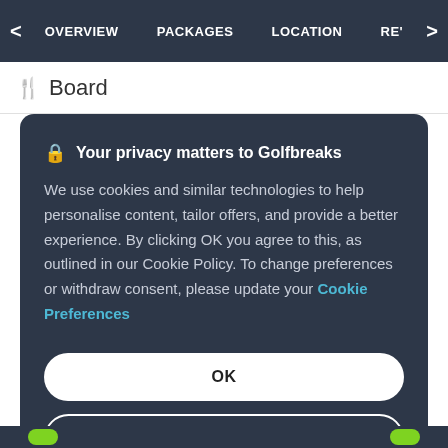< OVERVIEW   PACKAGES   LOCATION   RE' >
Board
Your privacy matters to Golfbreaks
We use cookies and similar technologies to help personalise content, tailor offers, and provide a better experience. By clicking OK you agree to this, as outlined in our Cookie Policy. To change preferences or withdraw consent, please update your Cookie Preferences
OK
PREFERENCES